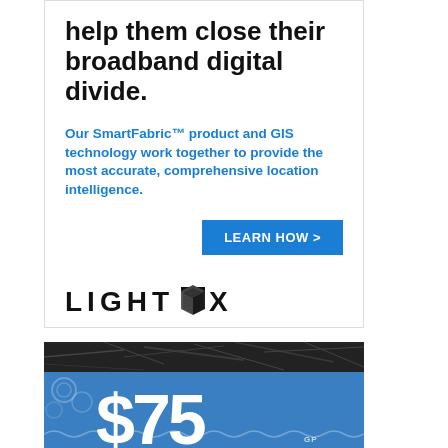help them close their broadband digital divide.
Our SmartFabric™ product and GIS technology work together to provide the most accurate, comprehensive location intelligence.
LEARN HOW >
[Figure (logo): LightBox logo with stylized box icon]
[Figure (photo): Dark map strip background]
[Figure (infographic): Blue background ad with $75 in large white text, decorative circles and wavy lines]